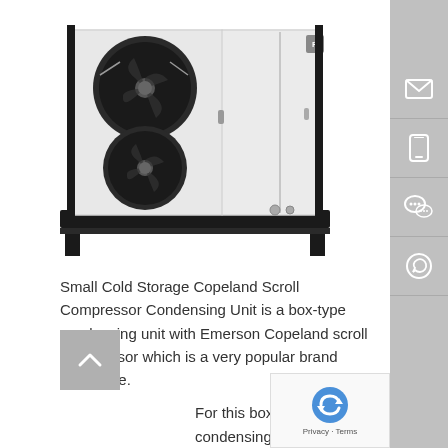[Figure (photo): Small Cold Storage Copeland Scroll Compressor Condensing Unit - a white box-type unit with two large circular fans on the front left panel and a metal enclosure on the right, mounted on a black frame base.]
Small Cold Storage Copeland Scroll Compressor Condensing Unit is a box-type condensing unit with Emerson Copeland scroll compressor which is a very popular brand worldwide.
For this box type condensing unit, we normally use Copeland ZB series, ZSI series, ZEL series compressor, and the